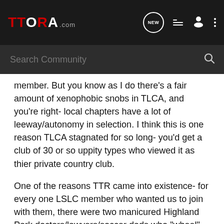TTORA.COM
Search Community
member. But you know as I do there's a fair amount of xenophobic snobs in TLCA, and you're right- local chapters have a lot of leeway/autonomy in selection. I think this is one reason TLCA stagnated for so long- you'd get a club of 30 or so uppity types who viewed it as thier private country club.
One of the reasons TTR came into existence- for every one LSLC member who wanted us to join with them, there were two manicured Highland Park doctors/lawyers/soccer dads who "wheel" (read:camp out to drink without the wife's nagging) once a year and worry about which portable satellite dish or camping potty/shower will be thier next 'off-road' mod. Those guys that don't like us are really just jealous that they can't let themselves go...